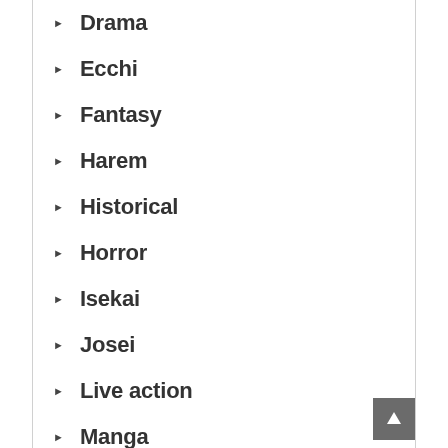Drama
Ecchi
Fantasy
Harem
Historical
Horror
Isekai
Josei
Live action
Manga
Manhua
Manhwa
Martial Arts